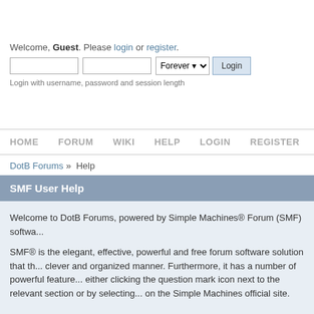Welcome, Guest. Please login or register.
Login with username, password and session length
HOME   FORUM   WIKI   HELP   LOGIN   REGISTER
DotB Forums » Help
SMF User Help
Welcome to DotB Forums, powered by Simple Machines® Forum (SMF) softwa...
SMF® is the elegant, effective, powerful and free forum software solution that th... clever and organized manner. Furthermore, it has a number of powerful feature... either clicking the question mark icon next to the relevant section or by selecting... on the Simple Machines official site.